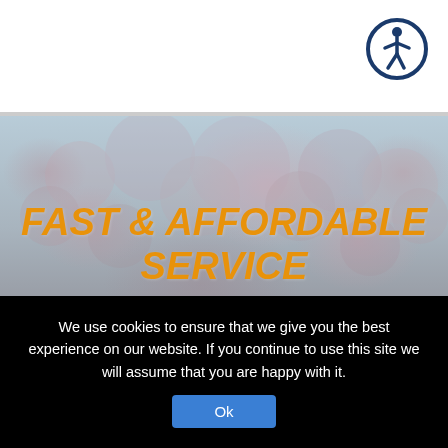[Figure (logo): Accessibility icon — circular navy blue border with white human figure (wheelchair accessibility symbol) in center]
[Figure (photo): Hero banner image showing blooming cherry blossom trees against a light blue sky, with pink and white blossoms filling most of the frame. Slightly blurred/muted background.]
FAST & AFFORDABLE SERVICE
Because we care. We'll get to you
We use cookies to ensure that we give you the best experience on our website. If you continue to use this site we will assume that you are happy with it.